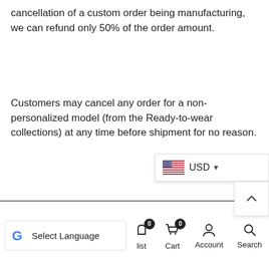cancellation of a custom order being manufacturing, we can refund only 50% of the order amount.
Customers may cancel any order for a non-personalized model (from the Ready-to-wear collections) at any time before shipment for no reason.
[Figure (screenshot): Currency selector widget showing USD with US flag icon and dropdown arrow]
[Figure (screenshot): Scroll-to-top button with upward caret arrow]
Select Language  |  list 0  |  Cart 0  |  Account  |  Search